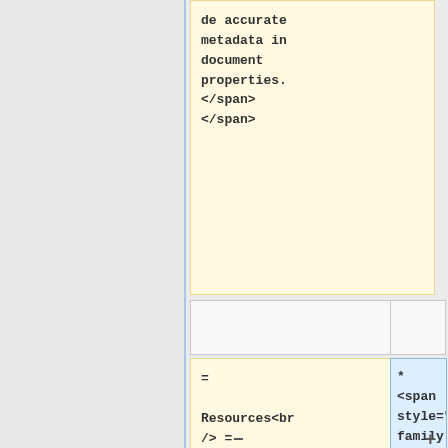de accurate metadata in document properties. </span> </span>
= Resources<br /> =
*<span style="font-family:tahoma,geneva,sans-serif">Ensure that document files posted on websites contain text and are not scanned images.&nbsp